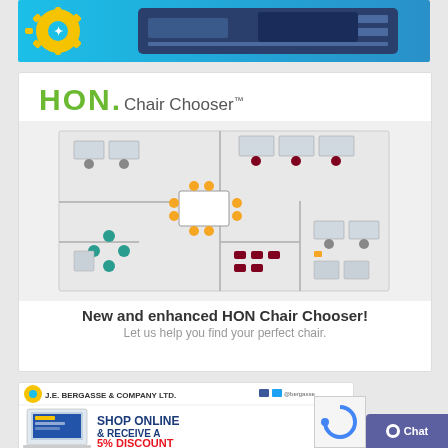[Figure (illustration): Top advertisement banner with blue background showing a Xerox printer and sunburst logo]
[Figure (illustration): HON Chair Chooser advertisement with green HON logo, office floor plan illustration, and text 'New and enhanced HON Chair Chooser! Let us help you find your perfect chair.']
[Figure (illustration): J.E. Bergasse & Company Ltd. advertisement showing 'SHOP ONLINE & RECEIVE A 5% DISCOUNT' with laptop image]